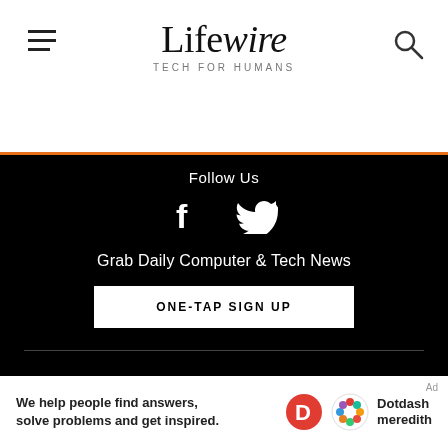Lifewire — TECH FOR HUMANS
Follow Us
Grab Daily Computer & Tech News
ONE-TAP SIGN UP
News
Best Products
Mobile Phones
Computers
About Us
Advertise
Privacy Policy
Cookie Policy
We help people find answers, solve problems and get inspired.